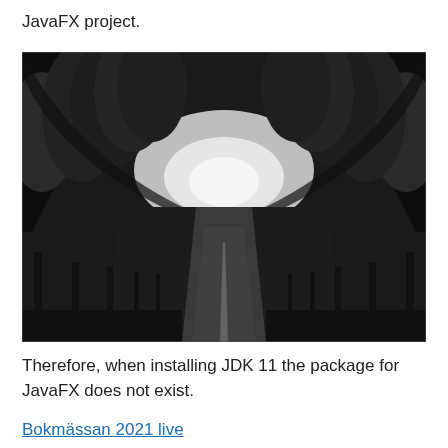JavaFX project.
[Figure (photo): Black and white photograph of a tree-lined road stretching into the distance, with tall trees forming an arch canopy over a straight road disappearing to a bright horizon.]
Therefore, when installing JDK 11 the package for JavaFX does not exist.
Bokmässan 2021 live